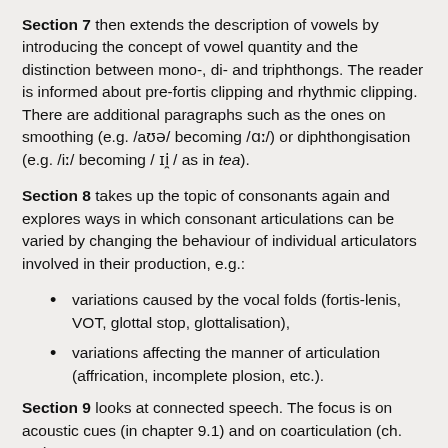Section 7 then extends the description of vowels by introducing the concept of vowel quantity and the distinction between mono-, di- and triphthongs. The reader is informed about pre-fortis clipping and rhythmic clipping. There are additional paragraphs such as the ones on smoothing (e.g. /aʊə/ becoming /ɑː/) or diphthongisation (e.g. /iː/ becoming /ɪi̯/ as in tea).
Section 8 takes up the topic of consonants again and explores ways in which consonant articulations can be varied by changing the behaviour of individual articulators involved in their production, e.g.:
variations caused by the vocal folds (fortis-lenis, VOT, glottal stop, glottalisation),
variations affecting the manner of articulation (affrication, incomplete plosion, etc.).
Section 9 looks at connected speech. The focus is on acoustic cues (in chapter 9.1) and on coarticulation (ch. 9.2).
The final section 10 is devoted to prosodic features (stress, accent, tone, intonation).